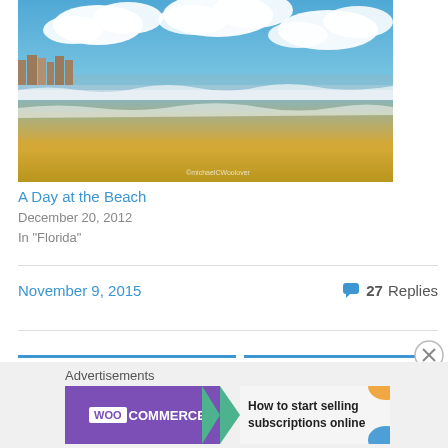[Figure (photo): Beach scene with sandy shore, shallow water reflections, waves, and blue sky with white clouds. Buildings visible on the left horizon. Watermark reads © michaelCWoolover]
A Day at the Beach
December 20, 2012
In "Florida"
November 9, 2015
27 Replies
[Figure (advertisement): WooCommerce advertisement banner: 'How to start selling subscriptions online']